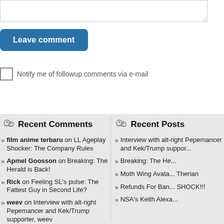[Figure (other): Text area input box (partially visible, with resize handle)]
Leave comment
Notify me of followup comments via e-mail
Recent Comments
film anime terbaru on LL Ageplay Shocker: The Company Rules
Apmel Goosson on Breaking: The Herald is Back!
Rick on Feeling SL's pulse: The Fattest Guy in Second Life?
weev on Interview with alt-right Pepemancer and Kek/Trump supporter, weev
Recent Posts
Interview with alt-right Pepemancer and Kek/Trump supporter, weev
Breaking: The Herald is Back!
Moth Wing Avatar for Therian
Refunds For Banned Accounts SHOCK!!!
NSA's Keith Alexander...